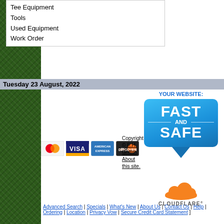Tee Equipment
Tools
Used Equipment
Work Order
Tuesday 23 August, 2022
[Figure (logo): YOUR WEBSITE: FAST AND SAFE badge with blue bubble design and arrow pointer]
[Figure (logo): Cloudflare logo with orange cloud icon and CLOUDFLARE text]
[Figure (logo): Payment method logos: MasterCard, Visa, American Express, Discover]
Copyright © E.H. Griffith. About this site.
Advanced Search | Specials | What's New | About Us | Contact Us | Help | Ordering | Location | Privacy Vow | Secure Credit Card Statement ]